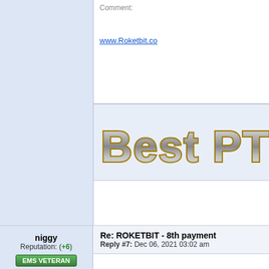Comment:
www.Roketbit.co
[Figure (logo): Best PTC Sites decorative metallic text banner logo]
niggy
Reputation: (+6)
EMS VETERAN
Offline
Posts: 2205
Referrals: 19
[Figure (logo): Best PTC Sites logo with orange and blue geometric icon]
Re: ROKETBIT - 8th payment
Reply #7: Dec 06, 2021 03:02 am
[Figure (logo): PAYEER payment system logo in blue text]
Payment Received
+ 7.44 USD
Date:	06.12.